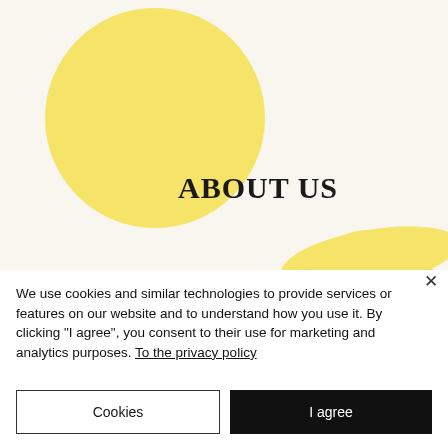[Figure (illustration): Banner image with cream/off-white background featuring a large yellow circle on the left side and bold serif text 'ABOUT US' in the center-lower area. A smaller yellow curved shape appears at the bottom right.]
We use cookies and similar technologies to provide services or features on our website and to understand how you use it. By clicking "I agree", you consent to their use for marketing and analytics purposes. To the privacy policy